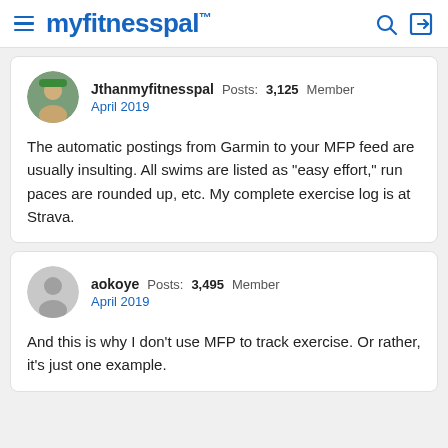myfitnesspal
Jthanmyfitnesspal Posts: 3,125 Member
April 2019

The automatic postings from Garmin to your MFP feed are usually insulting. All swims are listed as "easy effort," run paces are rounded up, etc. My complete exercise log is at Strava.
aokoye Posts: 3,495 Member
April 2019

And this is why I don't use MFP to track exercise. Or rather, it's just one example.